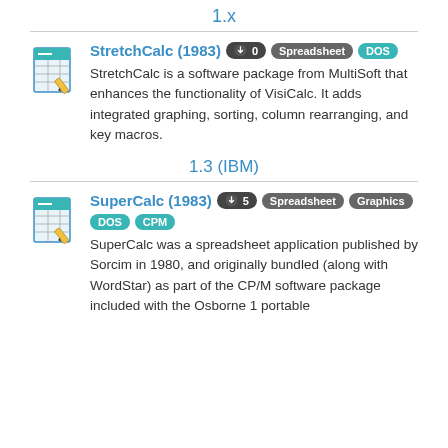1.x
StretchCalc (1983) [download 0] [Spreadsheet] [DOS]
StretchCalc is a software package from MultiSoft that enhances the functionality of VisiCalc. It adds integrated graphing, sorting, column rearranging, and key macros.
1.3 (IBM)
SuperCalc (1983) [download 5] [Spreadsheet] [Graphics] [DOS] [CPM]
SuperCalc was a spreadsheet application published by Sorcim in 1980, and originally bundled (along with WordStar) as part of the CP/M software package included with the Osborne 1 portable